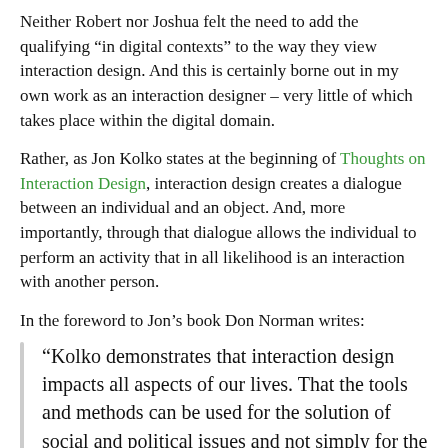Neither Robert nor Joshua felt the need to add the qualifying “in digital contexts” to the way they view interaction design. And this is certainly borne out in my own work as an interaction designer – very little of which takes place within the digital domain.
Rather, as Jon Kolko states at the beginning of Thoughts on Interaction Design, interaction design creates a dialogue between an individual and an object. And, more importantly, through that dialogue allows the individual to perform an activity that in all likelihood is an interaction with another person.
In the foreword to Jon’s book Don Norman writes:
“Kolko demonstrates that interaction design impacts all aspects of our lives. That the tools and methods can be used for the solution of social and political issues and not simply for the development of products.”
The winning entries of the 2014 Interaction Awards demonstrate this perspective very clearly. Take, for example, KonneKt, the interactive toy intended to allow